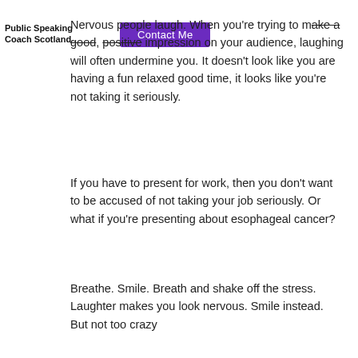Public Speaking Coach Scotland
Nervous people laugh. When you're trying to make a good, positive impression on your audience, laughing will often undermine you. It doesn't look like you are having a fun relaxed good time, it looks like you're not taking it seriously.
If you have to present for work, then you don't want to be accused of not taking your job seriously. Or what if you're presenting about esophageal cancer?
Breathe. Smile. Breath and shake off the stress. Laughter makes you look nervous. Smile instead. But not too crazy